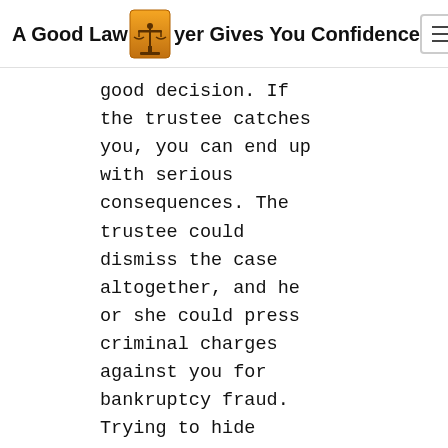A Good Lawyer Gives You Confidence | OLGABEZRUKOVA
good decision. If the trustee catches you, you can end up with serious consequences. The trustee could dismiss the case altogether, and he or she could press criminal charges against you for bankruptcy fraud. Trying to hide assets is not worth the risks involved.